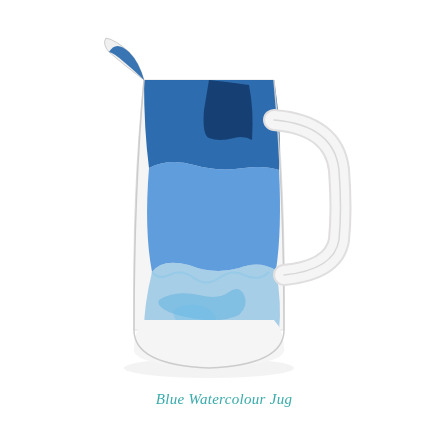[Figure (photo): A white ceramic jug (pitcher) with a watercolour-style blue ink wash design covering the upper half and part of the body. The blue fades into soft washes of lighter blue and white towards the bottom. The jug has a curved handle on the right and a spout on the upper left. The background is white.]
Blue Watercolour Jug